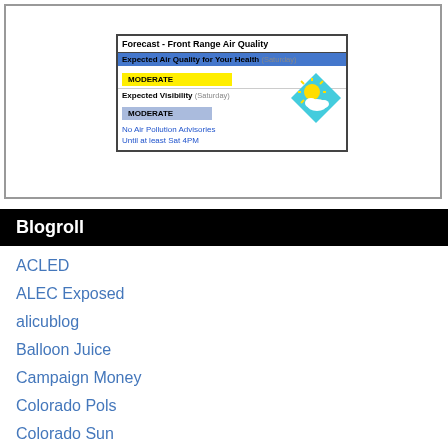[Figure (infographic): Forecast - Front Range Air Quality widget showing Expected Air Quality for Your Health (Saturday): MODERATE (yellow bar), Expected Visibility (Saturday): MODERATE (blue bar), with sun/cloud icon, and text 'No Air Pollution Advisories Until at least Sat 4PM']
Blogroll
ACLED
ALEC Exposed
alicublog
Balloon Juice
Campaign Money
Colorado Pols
Colorado Sun
CREW
DailyKos
EFF
Electoral-Vote.com